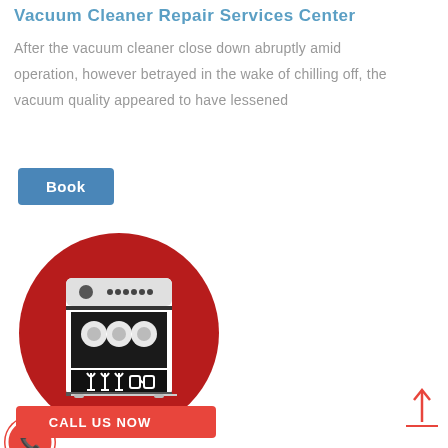Vacuum Cleaner Repair Services Center
After the vacuum cleaner close down abruptly amid operation, however betrayed in the wake of chilling off, the vacuum quality appeared to have lessened
Book
[Figure (illustration): Red circular icon with a white dishwasher/oven appliance illustration inside]
[Figure (infographic): Red call-to-action banner with phone icon and text CALL US NOW]
[Figure (illustration): Red upward arrow with horizontal baseline line, scroll-to-top button]